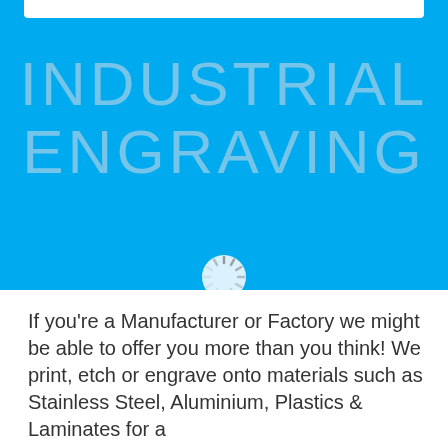[Figure (other): White horizontal bar at top of blue header area]
INDUSTRIAL ENGRAVING
[Figure (other): Loading spinner icon / circular dashed wheel graphic in center of blue section]
If you're a Manufacturer or Factory we might be able to offer you more than you think! We print, etch or engrave onto materials such as Stainless Steel, Aluminium, Plastics & Laminates for a